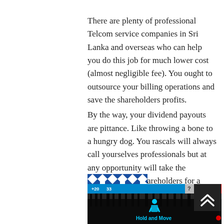There are plenty of professional Telcom service companies in Sri Lanka and overseas who can help you do this job for much lower cost (almost negligible fee). You ought to outsource your billing operations and save the shareholders profits.
By the way, your dividend payouts are pittance. Like throwing a bone to a hungry dog. You rascals will always call yourselves professionals but at any opportunity will take the innocent small shareholders for a ride.
[Figure (other): QR code in blue and white geometric/quilt pattern]
[Figure (screenshot): Advertisement overlay: dark background with blue top bar showing '+20' and '33', help and close buttons, person icon with 'Hold and Move' text, trees in background]
[Figure (other): Dark scroll-to-top button with double chevron arrows in white]